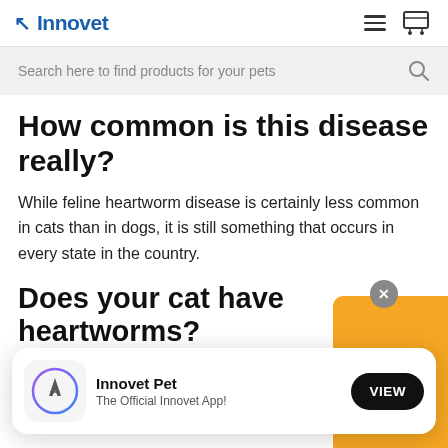Innovet
Search here to find products for your pets
How common is this disease really?
While feline heartworm disease is certainly less common in cats than in dogs, it is still something that occurs in every state in the country.
Does your cat have heartworms?
The surefire way to know whether or not your cat
[Figure (screenshot): App install banner for Innovet Pet app with VIEW button]
Innovet Pet
The Official Innovet App!